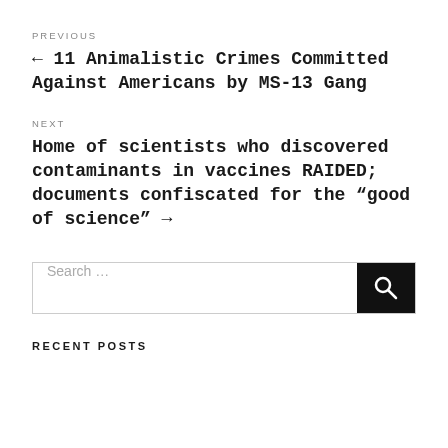PREVIOUS
← 11 Animalistic Crimes Committed Against Americans by MS-13 Gang
NEXT
Home of scientists who discovered contaminants in vaccines RAIDED; documents confiscated for the “good of science” →
Search …
RECENT POSTS